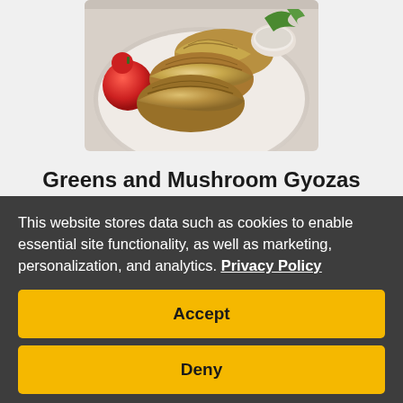[Figure (photo): A plate of gyoza/dumplings with tomatoes and garnish on a white plate]
Greens and Mushroom Gyozas
By Rebecca Dienner on November 20, 2013
This website stores data such as cookies to enable essential site functionality, as well as marketing, personalization, and analytics. Privacy Policy
Accept
Deny